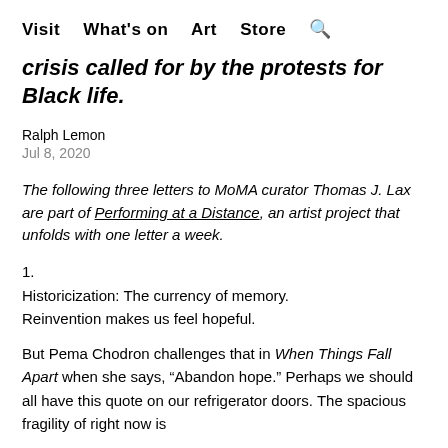Visit   What's on   Art   Store   🔍
crisis called for by the protests for Black life.
Ralph Lemon
Jul 8, 2020
The following three letters to MoMA curator Thomas J. Lax are part of Performing at a Distance, an artist project that unfolds with one letter a week.
1.
Historicization: The currency of memory.
Reinvention makes us feel hopeful.
But Pema Chodron challenges that in When Things Fall Apart when she says, "Abandon hope." Perhaps we should all have this quote on our refrigerator doors. The spacious fragility of right now is